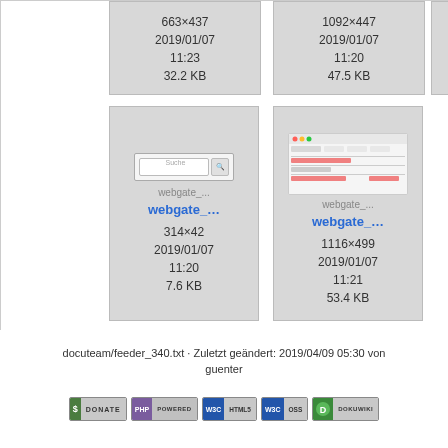[Figure (screenshot): Thumbnail: 663×437, 2019/01/07 11:23, 32.2 KB]
[Figure (screenshot): Thumbnail: 1092×447, 2019/01/07 11:20, 47.5 KB]
[Figure (screenshot): Thumbnail: webgate_... 314×42, 2019/01/07 11:20, 7.6 KB - search bar preview]
[Figure (screenshot): Thumbnail: webgate_... 1116×499, 2019/01/07 11:21, 53.4 KB - table interface preview]
docuteam/feeder_340.txt · Zuletzt geändert: 2019/04/09 05:30 von guenter
[Figure (other): Footer badges: DONATE, PHP POWERED, WSC HTML5, WSC OSS, DOKUWIKI]